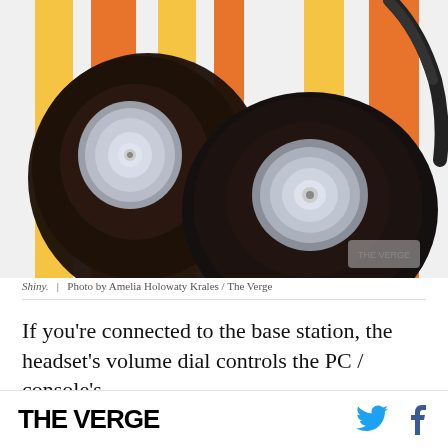[Figure (photo): Close-up photo of black and silver over-ear headphones on an orange and white striped background. Two earcups visible with metallic silver disc centers.]
Shiny.  |  Photo by Amelia Holowaty Krales / The Verge
If you're connected to the base station, the headset's volume dial controls the PC / console's
THE VERGE